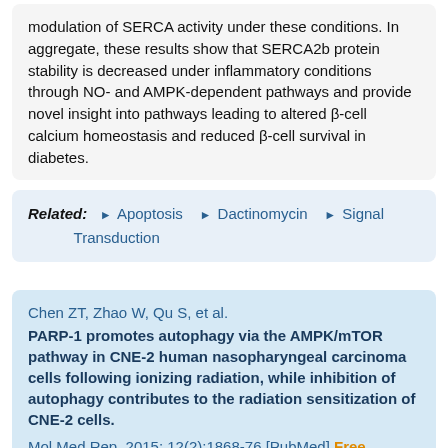modulation of SERCA activity under these conditions. In aggregate, these results show that SERCA2b protein stability is decreased under inflammatory conditions through NO- and AMPK-dependent pathways and provide novel insight into pathways leading to altered β-cell calcium homeostasis and reduced β-cell survival in diabetes.
Related: ► Apoptosis ► Dactinomycin ► Signal Transduction
Chen ZT, Zhao W, Qu S, et al.
PARP-1 promotes autophagy via the AMPK/mTOR pathway in CNE-2 human nasopharyngeal carcinoma cells following ionizing radiation, while inhibition of autophagy contributes to the radiation sensitization of CNE-2 cells.
Mol Med Rep. 2015; 12(2):1868-76 [PubMed] Free Access to Full Article Related Publications